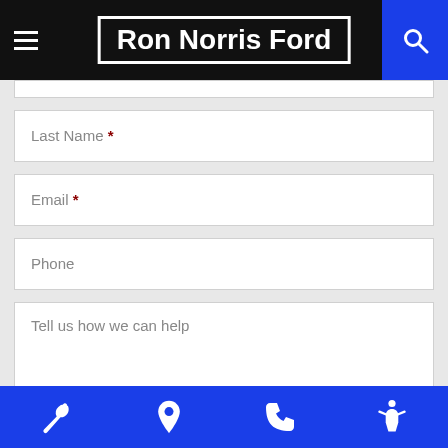Ron Norris Ford
Last Name *
Email *
Phone
Tell us how we can help
0 of 1000 max characters
Service | Location | Phone | Accessibility